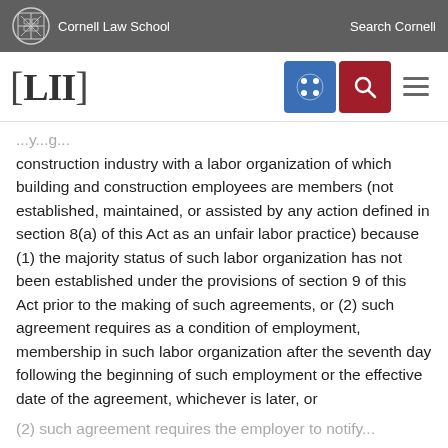Cornell Law School  Search Cornell
[Figure (logo): LII Legal Information Institute logo with navigation icons]
construction industry with a labor organization of which building and construction employees are members (not established, maintained, or assisted by any action defined in section 8(a) of this Act as an unfair labor practice) because (1) the majority status of such labor organization has not been established under the provisions of section 9 of this Act prior to the making of such agreements, or (2) such agreement requires as a condition of employment, membership in such labor organization after the seventh day following the beginning of such employment or the effective date of the agreement, whichever is later, or
(2) such agreement requires the employer to notify...